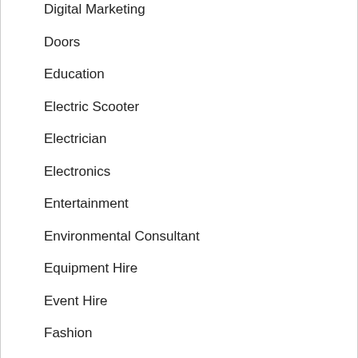Digital Marketing
Doors
Education
Electric Scooter
Electrician
Electronics
Entertainment
Environmental Consultant
Equipment Hire
Event Hire
Fashion
Finance
First Aid Course
Fitouts